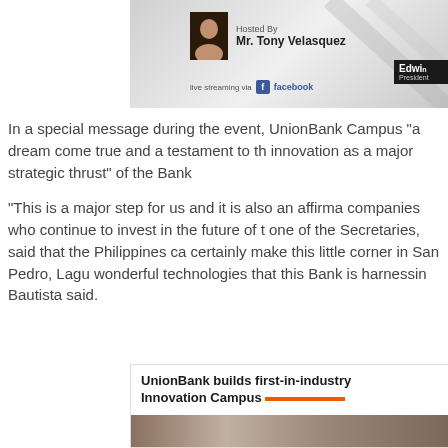[Figure (screenshot): Event broadcast screenshot showing host Mr. Tony Velasquez with 'Hosted By' label, live streaming via Facebook, and partial badge showing 'Edwin President']
In a special message during the event, UnionBank Campus "a dream come true and a testament to th innovation as a major strategic thrust" of the Bank
"This is a major step for us and it is also an affirma companies who continue to invest in the future of t one of the Secretaries, said that the Philippines ca certainly make this little corner in San Pedro, Lagu wonderful technologies that this Bank is harnessin Bautista said.
[Figure (screenshot): News article screenshot with headline 'UnionBank builds first-in-industry Innovation Campus' with orange underline and photo strip below]